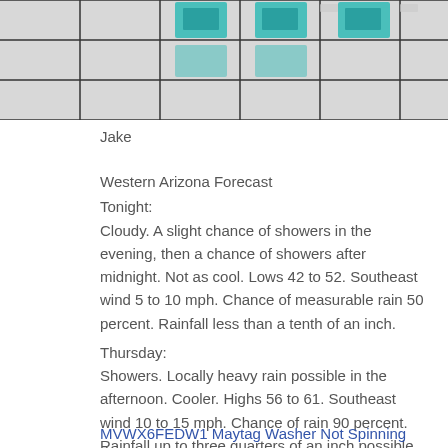[Figure (photo): Partial photo showing teal/cyan colored appliances or products on a grid display shelf, cropped at top]
Jake
Western Arizona Forecast
Tonight:
Cloudy. A slight chance of showers in the evening, then a chance of showers after midnight. Not as cool. Lows 42 to 52. Southeast wind 5 to 10 mph. Chance of measurable rain 50 percent. Rainfall less than a tenth of an inch.
Thursday:
Showers. Locally heavy rain possible in the afternoon. Cooler. Highs 56 to 61. Southeast wind 10 to 15 mph. Chance of rain 90 percent. Rainfall up to three quarters of an inch possible.
MVWX6FEDW1 Maytag Washer Not Spinning